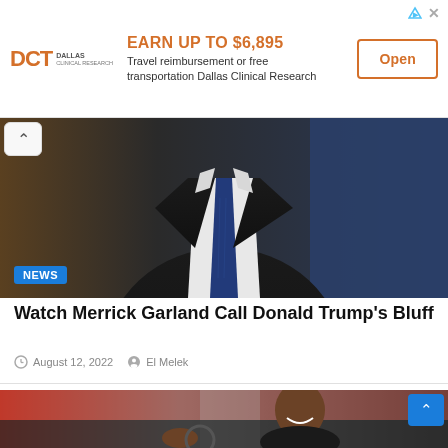[Figure (infographic): DCT Dallas Clinical Research advertisement banner. Orange text: EARN UP TO $6,895. Subtext: Travel reimbursement or free transportation Dallas Clinical Research. Open button with orange border.]
[Figure (photo): Man in dark suit and navy blue tie, torso only visible, blue curtain background. NEWS badge in blue at bottom left.]
Watch Merrick Garland Call Donald Trump's Bluff
August 12, 2022   El Melek
[Figure (photo): Woman smiling in a car, driving, blurred city background. Scroll-up button at top right in blue.]